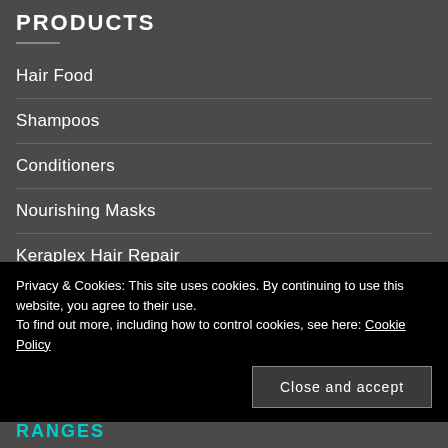PRODUCTS
Hair Food
Shampoos
Conditioners
Nourishing Masks
Keraplex Hair Repair
Styling Tools
Multi-Packs
Privacy & Cookies: This site uses cookies. By continuing to use this website, you agree to their use.
To find out more, including how to control cookies, see here: Cookie Policy
Close and accept
RANGES